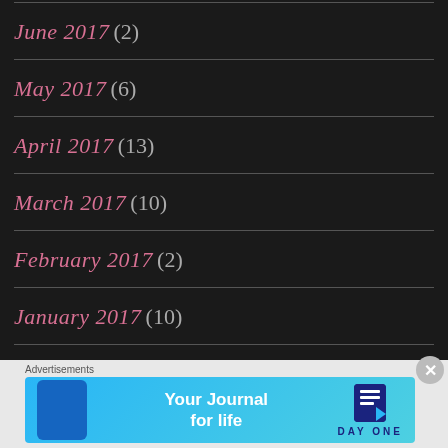June 2017 (2)
May 2017 (6)
April 2017 (13)
March 2017 (10)
February 2017 (2)
January 2017 (10)
December 2016 (9)
Advertisements
[Figure (other): Day One app advertisement banner with text 'Your Journal for life' and DAY ONE logo on cyan/blue background with phone mockup]